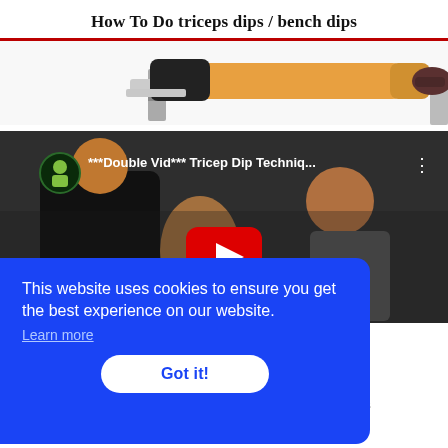How To Do triceps dips / bench dips
[Figure (photo): Person performing bench dips exercise, legs extended, upper body on bench edge, wearing dark top and sneakers]
[Figure (screenshot): YouTube video thumbnail showing 'Double Vid*** Tricep Dip Techniq...' with two people in a gym, red play button overlay]
This website uses cookies to ensure you get the best experience on our website.
Learn more
Got it!
further pro tips
for learning more of our tools to trick better for it...